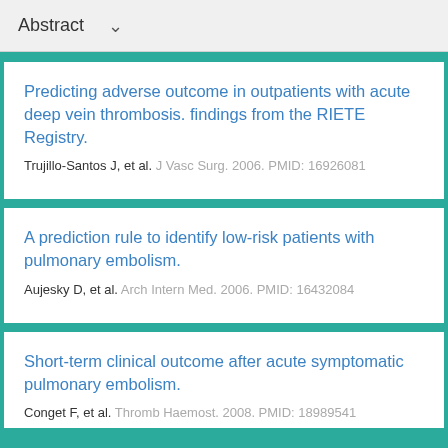Abstract
Predicting adverse outcome in outpatients with acute deep vein thrombosis. findings from the RIETE Registry.
Trujillo-Santos J, et al. J Vasc Surg. 2006. PMID: 16926081
A prediction rule to identify low-risk patients with pulmonary embolism.
Aujesky D, et al. Arch Intern Med. 2006. PMID: 16432084
Short-term clinical outcome after acute symptomatic pulmonary embolism.
Conget F, et al. Thromb Haemost. 2008. PMID: 18989541